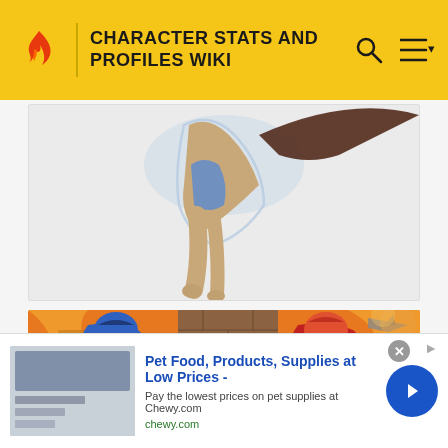CHARACTER STATS AND PROFILES WIKI
[Figure (illustration): Comic book style illustration showing a superhero figure flying or leaping, with partial body visible against a light grey background. Figure has blue and brown coloring with a long dark tail or cape element.]
[Figure (illustration): Comic book illustration showing two muscular superhero characters standing back to back against a brick wall with an orange explosive background. Left character is blue with lightning effects, right character is red and white with similar lightning effects.]
Pet Food, Products, Supplies at Low Prices -
Pay the lowest prices on pet supplies at Chewy.com
chewy.com